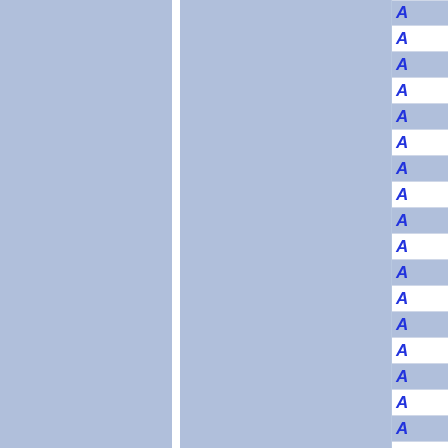[Figure (other): Page layout showing two blue-gray columns separated by a white vertical divider, with a right sidebar containing a vertical list of italic bold blue letter 'A' entries, each separated by thin horizontal lines on alternating blue-gray and white backgrounds.]